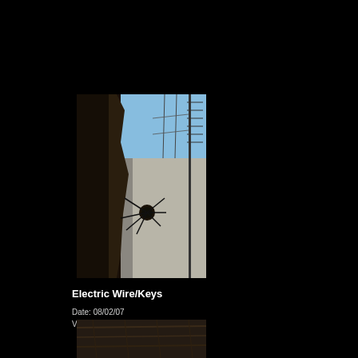[Figure (photo): Outdoor photograph showing electric wires and junction box mounted on a wall, with blue sky in the background. Dark silhouettes of building/wall on the left side.]
Electric Wire/Keys
Date: 08/02/07
Views: 10337
[Figure (photo): Partially visible photograph at the bottom of the page, showing a dark textured surface, cropped.]